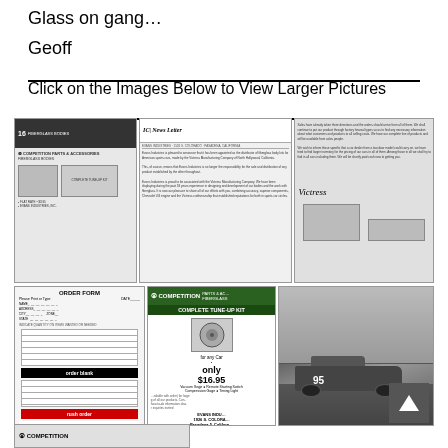Glass on gang…
Geoff
Click on the Images Below to View Larger Pictures
[Figure (other): Three thumbnail images of vintage competition parts and accessories documents/newsletters for fiberglass models]
[Figure (other): Three thumbnail images: an order form, a Competition Parts & Accessories advertisement for complete tune-up kit at $16.95, and a black-and-white photo of a race car numbered 95]
[Figure (other): Partial thumbnail of Competition logo/document at bottom of page]